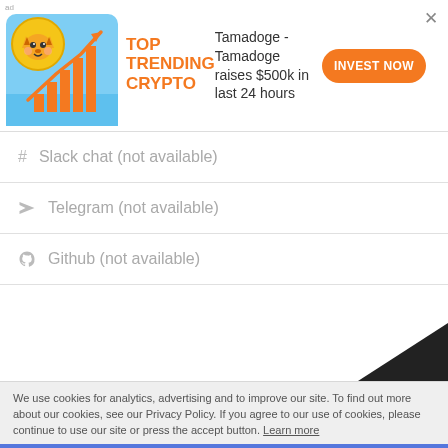[Figure (illustration): Tamadoge crypto ad banner with a cartoon shiba inu coin, bar chart trending upward with an orange arrow, orange text TOP TRENDING CRYPTO, description text Tamadoge - Tamadoge raises $500k in last 24 hours, and an orange INVEST NOW button]
# Slack chat (not available)
◀ Telegram (not available)
Github (not available)
We use cookies for analytics, advertising and to improve our site. To find out more about our cookies, see our Privacy Policy. If you agree to our use of cookies, please continue to use our site or press the accept button. Learn more
Accept